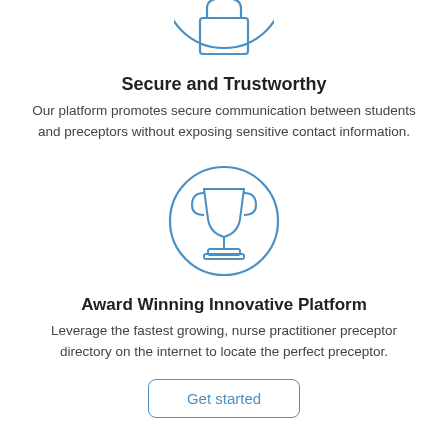[Figure (illustration): Blue circle icon with a padlock/shopping bag outline symbol at the top of the page (partially cropped)]
Secure and Trustworthy
Our platform promotes secure communication between students and preceptors without exposing sensitive contact information.
[Figure (illustration): Blue circle icon with a trophy/award cup outline symbol]
Award Winning Innovative Platform
Leverage the fastest growing, nurse practitioner preceptor directory on the internet to locate the perfect preceptor.
Get started